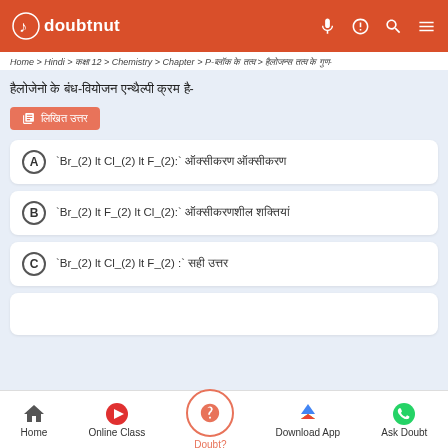doubtnut
Home > Hindi > कक्षा 12 > Chemistry > Chapter > P-ब्लॉक के तत्व > हैलोजन्स तत्व के गुण-
हैलोजेनो के बंध-वियोजन एन्थैल्पी क्रम है-
लिखित उत्तर
A  `Br_(2) lt Cl_(2) lt F_(2):` ऑक्सीकरण ऑक्सीकरण
B  `Br_(2) lt F_(2) lt Cl_(2):` ऑक्सीकरणशील शक्तियां
C  `Br_(2) lt Cl_(2) lt F_(2) :` सही उत्तर
Home  Online Class  Doubt?  Download App  Ask Doubt